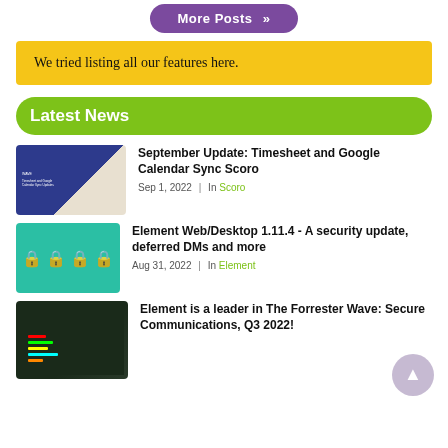More Posts »
We tried listing all our features here.
Latest News
[Figure (photo): News thumbnail: Blue and beige split design with text about Timesheet and Google Calendar Sync]
September Update: Timesheet and Google Calendar Sync Scoro
Sep 1, 2022  |  In Scoro
[Figure (photo): News thumbnail: Teal green background with four white lock icons]
Element Web/Desktop 1.11.4 - A security update, deferred DMs and more
Aug 31, 2022  |  In Element
[Figure (photo): News thumbnail: Dark background with colorful interface/screen elements]
Element is a leader in The Forrester Wave: Secure Communications, Q3 2022!